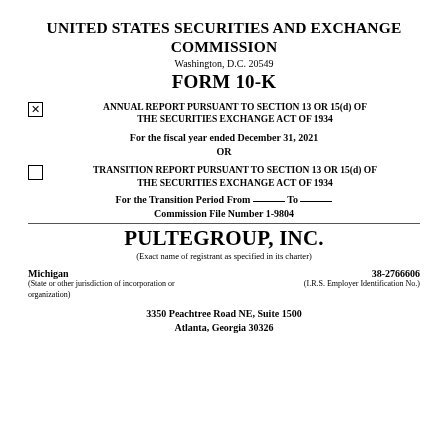UNITED STATES SECURITIES AND EXCHANGE COMMISSION
Washington, D.C. 20549
FORM 10-K
☒ ANNUAL REPORT PURSUANT TO SECTION 13 OR 15(d) OF THE SECURITIES EXCHANGE ACT OF 1934
For the fiscal year ended December 31, 2021
OR
☐ TRANSITION REPORT PURSUANT TO SECTION 13 OR 15(d) OF THE SECURITIES EXCHANGE ACT OF 1934
For the Transition Period From ______ To ______
Commission File Number 1-9804
PULTEGROUP, INC.
(Exact name of registrant as specified in its charter)
Michigan
38-2766606
(State or other jurisdiction of incorporation or organization)
(I.R.S. Employer Identification No.)
3350 Peachtree Road NE, Suite 1500
Atlanta, Georgia 30326